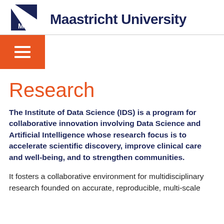[Figure (logo): Maastricht University logo with angular geometric shapes in dark navy blue forming a stylized UM monogram, alongside the text 'Maastricht University' in dark navy bold font]
[Figure (other): Orange hamburger menu button with three white horizontal lines]
Research
The Institute of Data Science (IDS) is a program for collaborative innovation involving Data Science and Artificial Intelligence whose research focus is to accelerate scientific discovery, improve clinical care and well-being, and to strengthen communities.
It fosters a collaborative environment for multidisciplinary research founded on accurate, reproducible, multi-scale